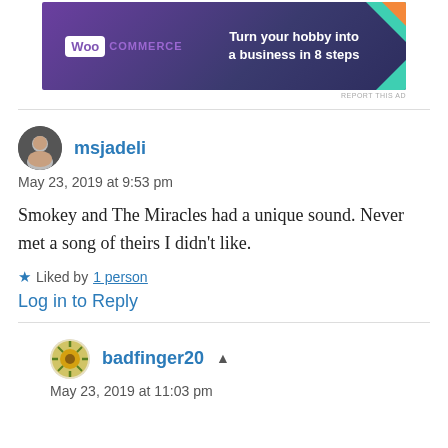[Figure (other): WooCommerce advertisement banner with dark purple background, teal and orange decorative shapes. Text reads 'Turn your hobby into a business in 8 steps']
REPORT THIS AD
msjadeli
May 23, 2019 at 9:53 pm
Smokey and The Miracles had a unique sound. Never met a song of theirs I didn't like.
Liked by 1 person
Log in to Reply
badfinger20
May 23, 2019 at 11:03 pm